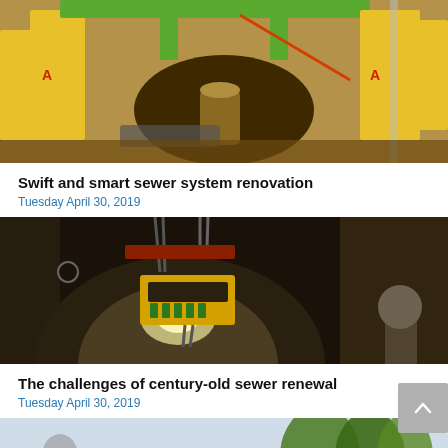[Figure (photo): Overhead view of a sewer excavation site with yellow safety barriers and green metal frame structure over a trench, with construction equipment visible]
Swift and smart sewer system renovation
Tuesday April 30, 2019
[Figure (photo): Interior view of a large sewer tunnel with a yellow and red equipment cradle suspended by chains, illuminated inside the dark circular tunnel]
The challenges of century-old sewer renewal
Tuesday April 30, 2019
[Figure (photo): Partial view of an outdoor scene with trees and a person visible at the bottom of the page]